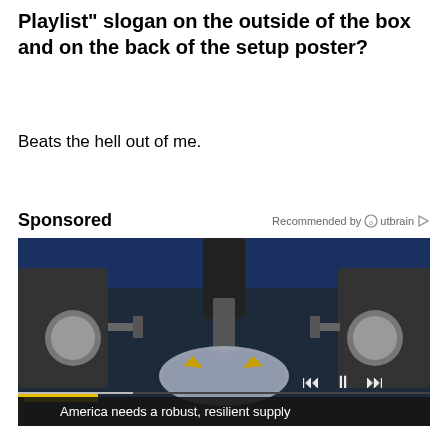Playlist" slogan on the outside of the box and on the back of the setup poster?
Beats the hell out of me.
Sponsored
Recommended by Outbrain
[Figure (screenshot): Video thumbnail showing a close-up of semiconductor manufacturing equipment with robotic arms over a silicon wafer, with video playback controls visible at the bottom]
America needs a robust, resilient supply